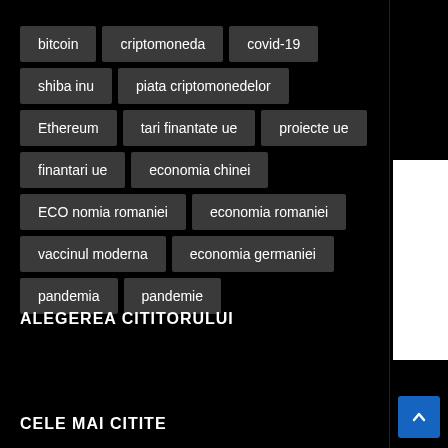bitcoin
criptomoneda
covid-19
shiba inu
piata criptomonedelor
Ethereum
tari finantate ue
proiecte ue
finantari ue
economia chinei
ECO nomia romaniei
economia romaniei
vaccinul moderna
economia germaniei
pandemia
pandemie
ALEGEREA CITITORULUI
CELE MAI CITITE